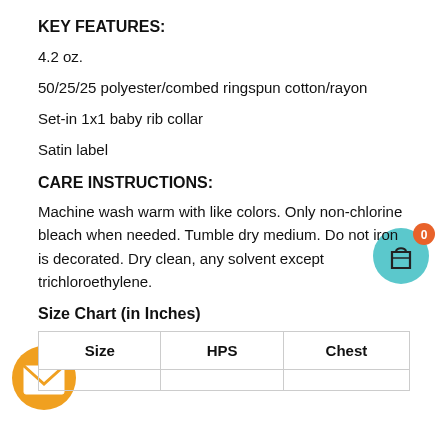KEY FEATURES:
4.2 oz.
50/25/25 polyester/combed ringspun cotton/rayon
Set-in 1x1 baby rib collar
Satin label
CARE INSTRUCTIONS:
Machine wash warm with like colors. Only non-chlorine bleach when needed. Tumble dry medium. Do not iron is decorated. Dry clean, any solvent except trichloroethylene.
Size Chart (in Inches)
| Size | HPS | Chest |
| --- | --- | --- |
[Figure (illustration): Shopping bag icon with orange badge showing '0']
[Figure (illustration): Orange circle with envelope/mail icon]